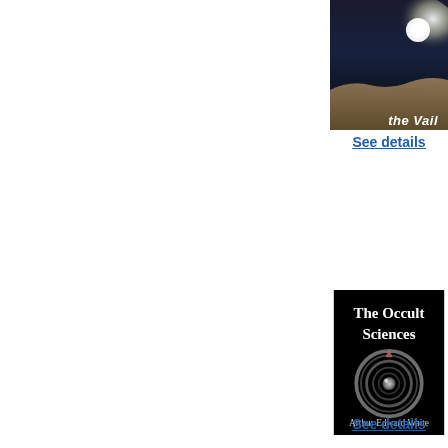[Figure (illustration): Book cover partially visible - dark image with sandy/rocky surface and text 'the Vail' in white stylized font]
See details
[Figure (illustration): Book cover for 'The Occult Sciences' by Arthur Edward Waite - black background with white title text, spiral/ouroboros symbol in center, author name at bottom]
See details